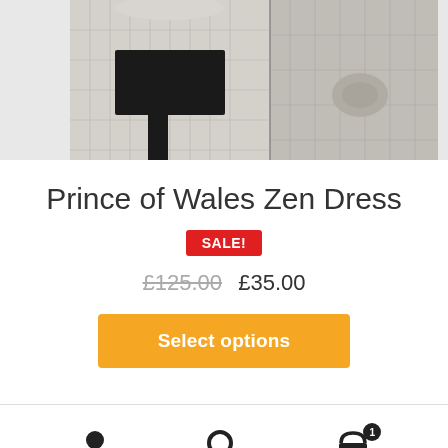[Figure (photo): Product photo of a Prince of Wales check dress on a mannequin, shown from two angles — left shows the front with a wide black belt/obi, right shows a side view with a tied knot detail at the hip.]
Prince of Wales Zen Dress
SALE!
£125.00  £35.00
Select options
Account  Search  Cart (1)